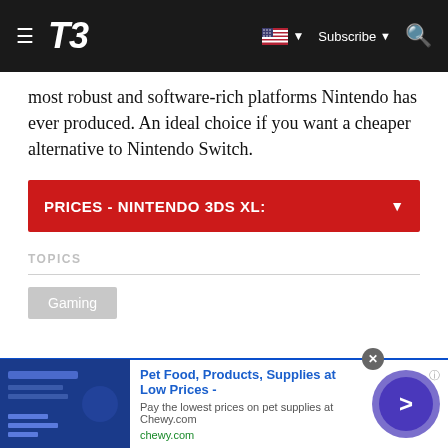T3 — Subscribe
most robust and software-rich platforms Nintendo has ever produced. An ideal choice if you want a cheaper alternative to Nintendo Switch.
PRICES - NINTENDO 3DS XL:
TOPICS
Gaming
[Figure (other): Advertisement: Pet Food, Products, Supplies at Low Prices - chewy.com. Pay the lowest prices on pet supplies at Chewy.com.]